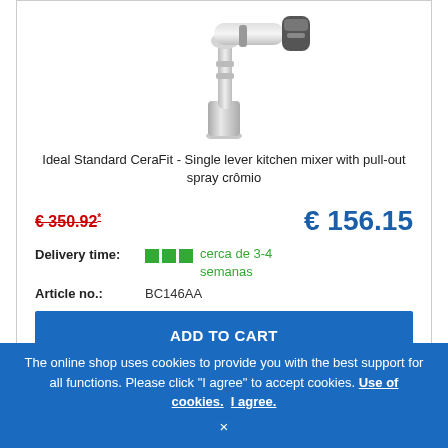[Figure (photo): Kitchen faucet/mixer tap with pull-out spray, chrome finish, shown on white background]
Ideal Standard CeraFit - Single lever kitchen mixer with pull-out spray crômio
€ 350.92* (strikethrough old price) and € 156.15 (new price)
Delivery time: cerca de 3-4 semanas
Article no.: BC146AA
ADD TO CART
The online shop uses cookies to provide you with the best support for all functions. Please click "I agree" to accept cookies. Use of cookies. I agree. ×